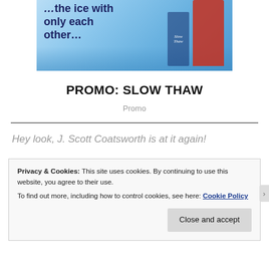[Figure (illustration): Book cover promotional image showing icy blue background with bold dark blue text reading 'the ice with only each other...' and a person in a red jacket. Book title 'Slow Thaw' visible.]
PROMO: SLOW THAW
Promo
Hey look, J. Scott Coatsworth is at it again!
Privacy & Cookies: This site uses cookies. By continuing to use this website, you agree to their use.
To find out more, including how to control cookies, see here: Cookie Policy
Close and accept